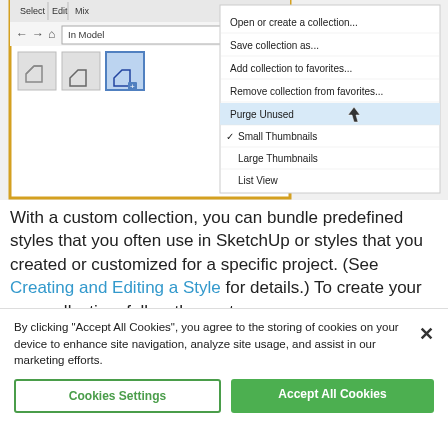[Figure (screenshot): Screenshot of SketchUp Components panel showing 'In Model' dropdown selected, three component thumbnails visible, and a context menu open with options: Open or create a collection..., Save collection as..., Add collection to favorites..., Remove collection from favorites..., Purge Unused (highlighted), Small Thumbnails (checked), Large Thumbnails, List View, Refresh. The panel has a yellow/gold border.]
With a custom collection, you can bundle predefined styles that you often use in SketchUp or styles that you created or customized for a specific project. (See Creating and Editing a Style for details.) To create your own collection, follow these steps:
By clicking “Accept All Cookies”, you agree to the storing of cookies on your device to enhance site navigation, analyze site usage, and assist in our marketing efforts.